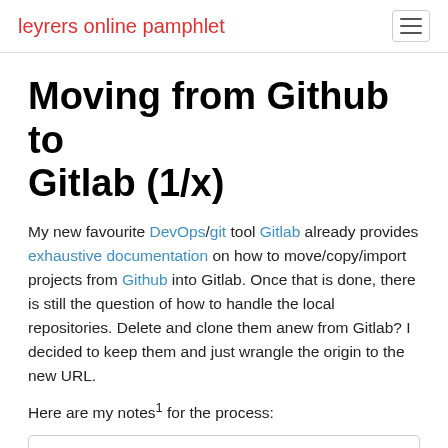leyrers online pamphlet
Moving from Github to Gitlab (1/x)
My new favourite DevOps/git tool Gitlab already provides exhaustive documentation on how to move/copy/import projects from Github into Gitlab. Once that is done, there is still the question of how to handle the local repositories. Delete and clone them anew from Gitlab? I decided to keep them and just wrangle the origin to the new URL.
Here are my notes¹ for the process:
$ git remote -v
origin  git@github.com:leyrer/linux-home.git (fetch)
origin  git@github.com:leyrer/linux-home.git (push)